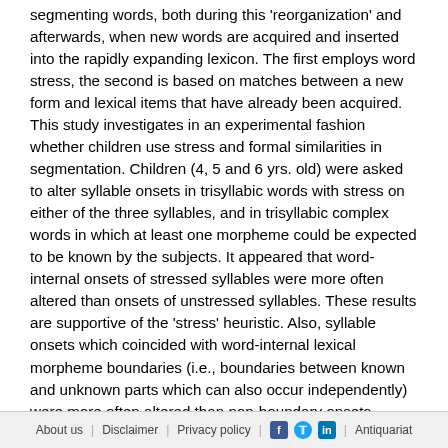segmenting words, both during this 'reorganization' and afterwards, when new words are acquired and inserted into the rapidly expanding lexicon. The first employs word stress, the second is based on matches between a new form and lexical items that have already been acquired. This study investigates in an experimental fashion whether children use stress and formal similarities in segmentation. Children (4, 5 and 6 yrs. old) were asked to alter syllable onsets in trisyllabic words with stress on either of the three syllables, and in trisyllabic complex words in which at least one morpheme could be expected to be known by the subjects. It appeared that word-internal onsets of stressed syllables were more often altered than onsets of unstressed syllables. These results are supportive of the 'stress' heuristic. Also, syllable onsets which coincided with word-internal lexical morpheme boundaries (i.e., boundaries between known and unknown parts which can also occur independently) were more often altered than non-boundary onsets. However, syllable onsets at root-suffix boundaries were not altered more frequently than non-boundary onsets. This difference between
About us | Disclaimer | Privacy policy | [Facebook] [Twitter] [LinkedIn] | Antiquariat